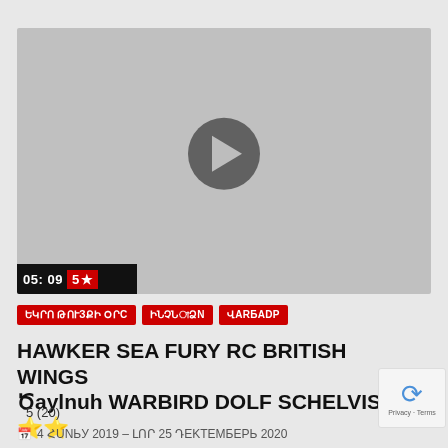[Figure (screenshot): Video player thumbnail with gray background, play button circle in center, time overlay showing 05:09 and 5-star rating in bottom left]
ԵԿՐՈ ԹՈՒԶՔԻ ՕՐՐ  ԻՆՉՆԱՁՈ  ՎԱՐԲԱԴ
HAWKER SEA FURY RC BRITISH WINGS Ծaylnuh WARBIRD DOLF SCHELVIS ⭐⭐
5 (20)
📅 4 ՀՈՒՆ ЬՈ 2019 – ՆՈՐ 25 ԴԵԿՏԵՄБЕРЬ 2020